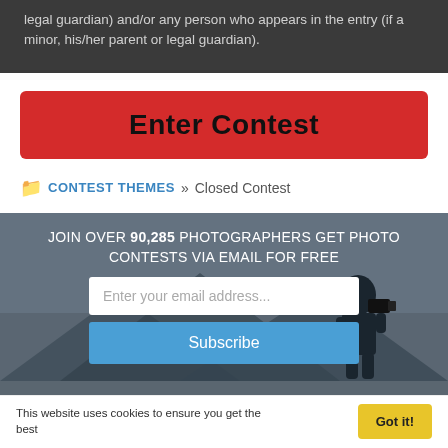legal guardian) and/or any person who appears in the entry (if a minor, his/her parent or legal guardian).
Enter Contest
CONTEST THEMES » Closed Contest
JOIN OVER 90,285 PHOTOGRAPHERS GET PHOTO CONTESTS VIA EMAIL FOR FREE
Enter your email address...
Subscribe
This website uses cookies to ensure you get the best
Got it!